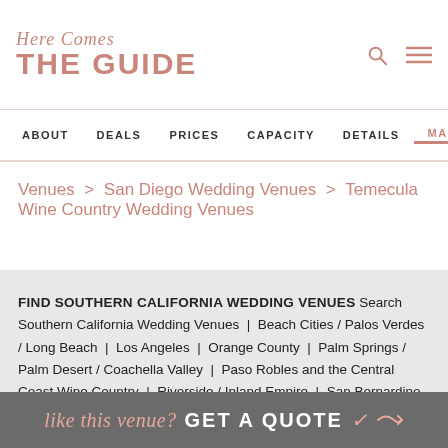Here Comes THE GUIDE
ABOUT | DEALS | PRICES | CAPACITY | DETAILS | MAP
Venues > San Diego Wedding Venues > Temecula Wine Country Wedding Venues
FIND SOUTHERN CALIFORNIA WEDDING VENUES Search Southern California Wedding Venues | Beach Cities / Palos Verdes / Long Beach | Los Angeles | Orange County | Palm Springs / Palm Desert / Coachella Valley | Paso Robles and the Central Coast Wine Country | Riverside / Inland Empire | San Bernardino Mountains / Lake Arrowhead | San Diego | San Fernando Valley | San Gabriel Valley / Pasadena | Santa Barbara County | San Luis Obispo and Central Coast Beach Area | Santa Clarita
like this venue? GET A QUOTE